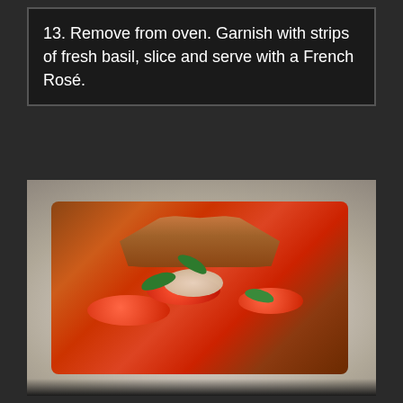13. Remove from oven. Garnish with strips of fresh basil, slice and serve with a French Rosé.
[Figure (photo): A baked tomato tart or galette on a white plate, topped with sliced tomatoes, fresh mozzarella or white cheese crumbles, onion wedges, and fresh basil leaves. The pastry crust is golden brown and slightly charred at the edges.]